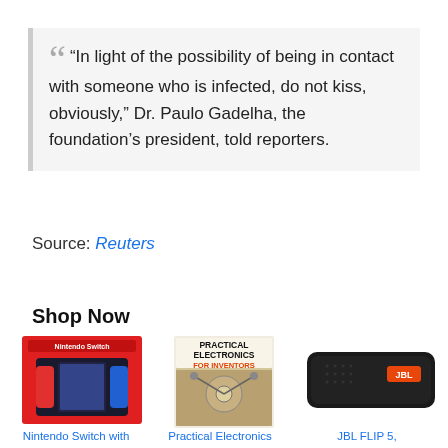“In light of the possibility of being in contact with someone who is infected, do not kiss, obviously,” Dr. Paulo Gadelha, the foundation’s president, told reporters.
Source: Reuters
Shop Now
[Figure (photo): Nintendo Switch with neon red/blue Joy-Con product box]
[Figure (photo): Book cover: Practical Electronics for Inventors]
[Figure (photo): JBL FLIP 5 portable Bluetooth speaker in black]
Nintendo Switch with
Practical Electronics
JBL FLIP 5,